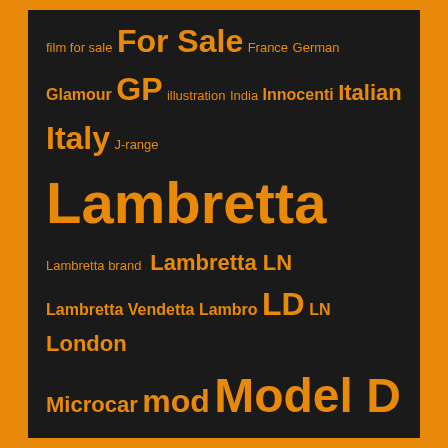[Figure (infographic): Tag cloud on dark background with orange border, featuring scooter/Lambretta related keywords in various font sizes indicating frequency/importance. Keywords include: film for sale, For Sale, France, German, Glamour, GP, illustration, India, Innocenti, Italian, Italy, J-range, Lambretta, Lambretta brand, Lambretta LN, Lambretta Vendetta, Lambro, LD, LN, London, Microcar, mod, Model D, motorcycle, movie, Music, New Lambretta, News, oddball, original, photography, Rally, restoration, retro, rideout, Scomadi, scooter, Series 1, Series 2, Series 3, Serveta, sidecar, skinhead, Spain, SX, three-wheeler, TV, TV175, USA, Vespa, video, Vimeo, vintage, YouTube]